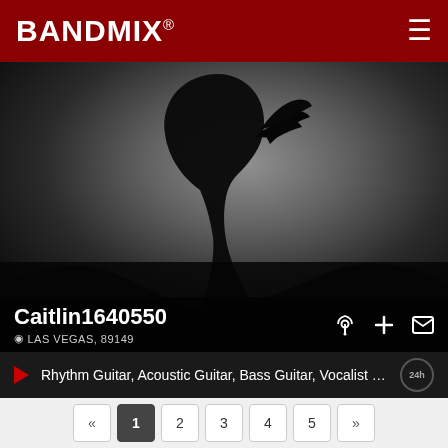BANDMIX®
[Figure (photo): Silhouette of a person with short hair against a grey gradient background, viewed from behind/side angle. The figure is mostly in dark shadow.]
Caitlin1640550
LAS VEGAS, 89149
Rhythm Guitar, Acoustic Guitar, Bass Guitar, Vocalist - Bass, Vocali...
« 1 2 3 4 5 »